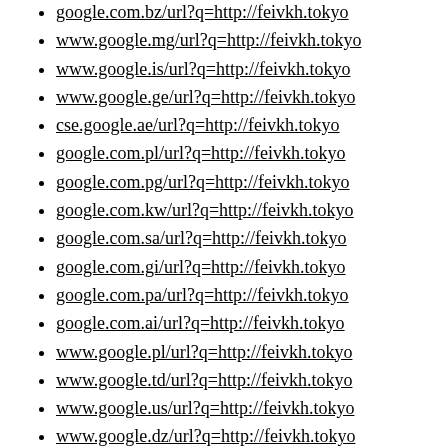google.com.bz/url?q=http://feivkh.tokyo
www.google.mg/url?q=http://feivkh.tokyo
www.google.is/url?q=http://feivkh.tokyo
www.google.ge/url?q=http://feivkh.tokyo
cse.google.ae/url?q=http://feivkh.tokyo
google.com.pl/url?q=http://feivkh.tokyo
google.com.pg/url?q=http://feivkh.tokyo
google.com.kw/url?q=http://feivkh.tokyo
google.com.sa/url?q=http://feivkh.tokyo
google.com.gi/url?q=http://feivkh.tokyo
google.com.pa/url?q=http://feivkh.tokyo
google.com.ai/url?q=http://feivkh.tokyo
www.google.pl/url?q=http://feivkh.tokyo
www.google.td/url?q=http://feivkh.tokyo
www.google.us/url?q=http://feivkh.tokyo
www.google.dz/url?q=http://feivkh.tokyo
google.com.my/url?q=http://feivkh.tokyo
www.google.mw/url?q=http://feivkh.tokyo